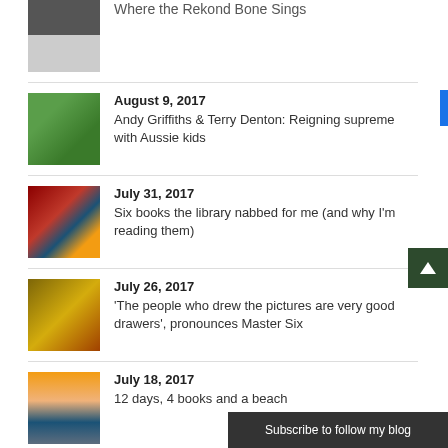Where the Rekond Bone Sings
August 9, 2017
Andy Griffiths & Terry Denton: Reigning supreme with Aussie kids
July 31, 2017
Six books the library nabbed for me (and why I'm reading them)
July 26, 2017
'The people who drew the pictures are very good drawers', pronounces Master Six
July 18, 2017
12 days, 4 books and a beach
July 7, 2017
Subscribe to follow my blog